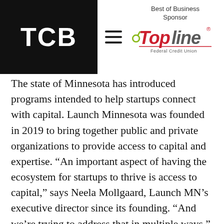TCB logo with navigation icons
[Figure (logo): TopLine Federal Credit Union logo with 'Best of Business Sponsor' label]
The state of Minnesota has introduced programs intended to help startups connect with capital. Launch Minnesota was founded in 2019 to bring together public and private organizations to provide access to capital and expertise. “An important aspect of having the ecosystem for startups to thrive is access to capital,” says Neela Mollgaard, Launch MN’s executive director since its founding. “And we’re trying to address that in multiple ways.”
Before Launch, the state’s most notable effort was the angel tax credit, enacted in 2010. “The angel tax credit has incentivized quite a bit of investment,” Mollgaard says. In 2021, the state awarded $10 million in credits, with investment going to companies that collectively raised